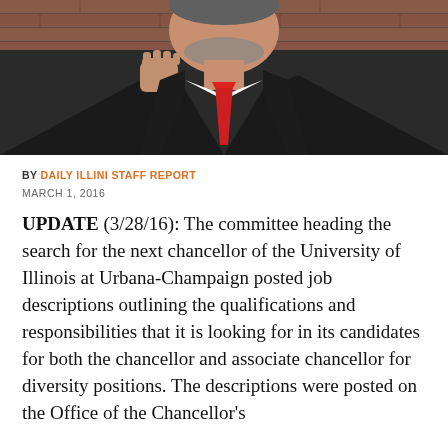[Figure (photo): A man in a dark suit with a red tie, with a raised fist gesture, photographed against a brick wall background. The photo is cropped to show the upper body and face.]
BY DAILY ILLINI STAFF REPORT
MARCH 1, 2016
UPDATE (3/28/16): The committee heading the search for the next chancellor of the University of Illinois at Urbana-Champaign posted job descriptions outlining the qualifications and responsibilities that it is looking for in its candidates for both the chancellor and associate chancellor for diversity positions. The descriptions were posted on the Office of the Chancellor's